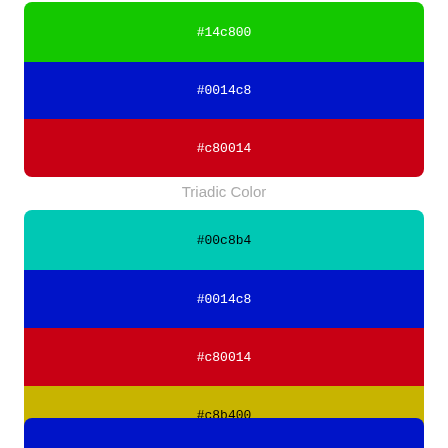[Figure (infographic): Triadic color palette showing three color swatches: green #14c800, blue #0014c8, and red #c80014 stacked vertically in a rounded rectangle]
Triadic Color
[Figure (infographic): Tetradic color palette showing four color swatches: teal #00c8b4, blue #0014c8, red #c80014, and gold #c8b400 stacked vertically in a rounded rectangle]
Tetradic Color
[Figure (infographic): Partial color swatch showing blue at the bottom of the page]